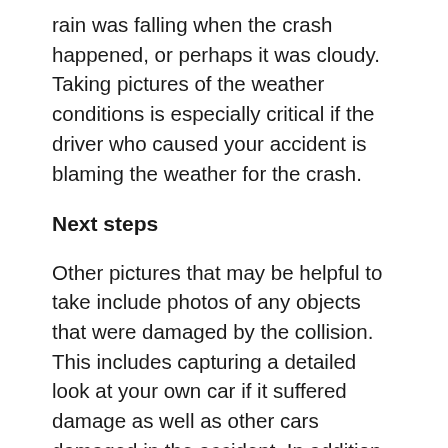rain was falling when the crash happened, or perhaps it was cloudy. Taking pictures of the weather conditions is especially critical if the driver who caused your accident is blaming the weather for the crash.
Next steps
Other pictures that may be helpful to take include photos of any objects that were damaged by the collision. This includes capturing a detailed look at your own car if it suffered damage as well as other cars damaged in the accident. In addition, taking photos of the condition of the area where the accident happened may be helpful, as you may be able to capture skid marks or roadside debris immediately following the